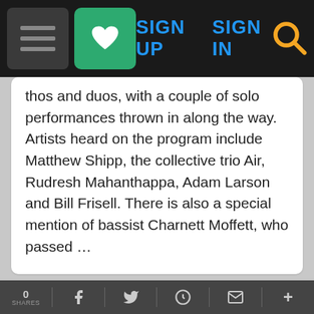Navigation bar with hamburger menu, heart/bookmark icon, SIGN UP, SIGN IN links, and search icon
thos and duos, with a couple of solo performances thrown in along the way. Artists heard on the program include Matthew Shipp, the collective trio Air, Rudresh Mahanthappa, Adam Larson and Bill Frisell. There is also a special mention of bassist Charnett Moffett, who passed …
Song of the Day
Is It Future Or Is It Past
Ad — BitLife - Life Simulator
0 SHARES — share icons: Facebook, Twitter, Reddit, Mail, Plus